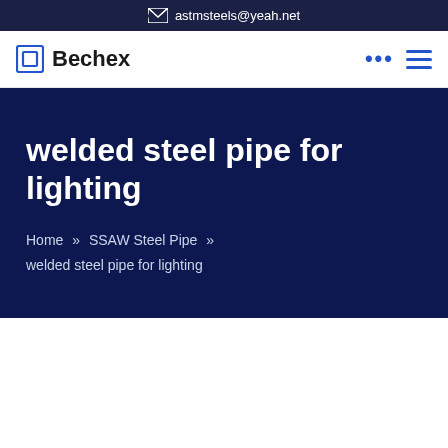astmsteels@yeah.net
[Figure (logo): Bechex company logo with blue square icon and bold text]
welded steel pipe for lighting
Home » SSAW Steel Pipe » welded steel pipe for lighting